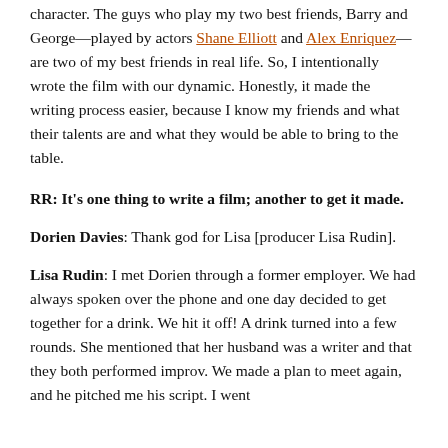character. The guys who play my two best friends, Barry and George—played by actors Shane Elliott and Alex Enriquez—are two of my best friends in real life. So, I intentionally wrote the film with our dynamic. Honestly, it made the writing process easier, because I know my friends and what their talents are and what they would be able to bring to the table.
RR: It's one thing to write a film; another to get it made.
Dorien Davies: Thank god for Lisa [producer Lisa Rudin].
Lisa Rudin: I met Dorien through a former employer. We had always spoken over the phone and one day decided to get together for a drink. We hit it off! A drink turned into a few rounds. She mentioned that her husband was a writer and that they both performed improv. We made a plan to meet again, and he pitched me his script. I went